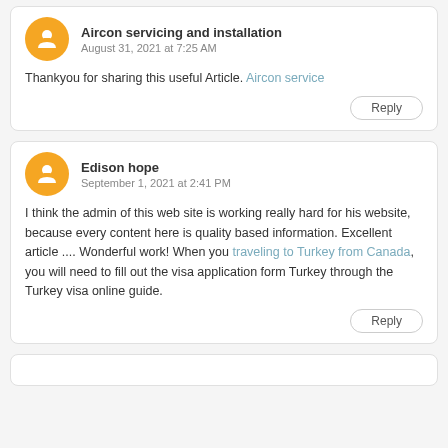Aircon servicing and installation
August 31, 2021 at 7:25 AM
Thankyou for sharing this useful Article. Aircon service
Reply
Edison hope
September 1, 2021 at 2:41 PM
I think the admin of this web site is working really hard for his website, because every content here is quality based information. Excellent article .... Wonderful work! When you traveling to Turkey from Canada, you will need to fill out the visa application form Turkey through the Turkey visa online guide.
Reply